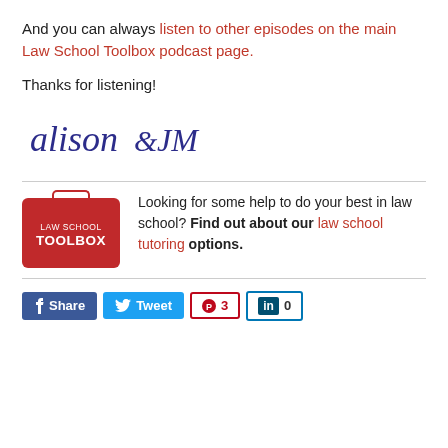And you can always listen to other episodes on the main Law School Toolbox podcast page.
Thanks for listening!
[Figure (illustration): Handwritten signature reading 'Alison & JM' in dark blue ink]
Looking for some help to do your best in law school? Find out about our law school tutoring options.
[Figure (logo): Law School Toolbox logo - red briefcase shape with white text]
Share, Tweet, Pinterest count 3, LinkedIn count 0